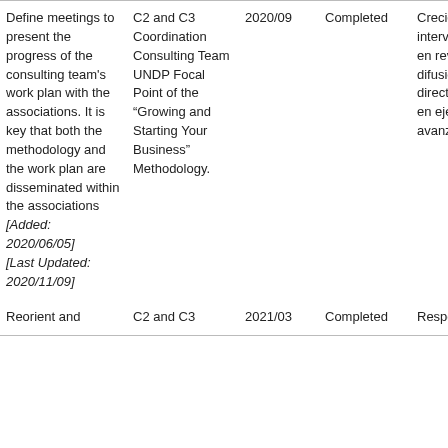| Activity | Responsible | Target Date | Status | Comments |
| --- | --- | --- | --- | --- |
| Define meetings to present the progress of the consulting team's work plan with the associations. It is key that both the methodology and the work plan are disseminated within the associations [Added: 2020/06/05] [Last Updated: 2020/11/09] | C2 and C3 Coordination Consulting Team UNDP Focal Point of the “Growing and Starting Your Business” Methodology. | 2020/09 | Completed | Creciendo intervención en revisión de difusión y directivos está en eje está avanz |
| Reorient and | C2 and C3 | 2021/03 | Completed | Responsab |